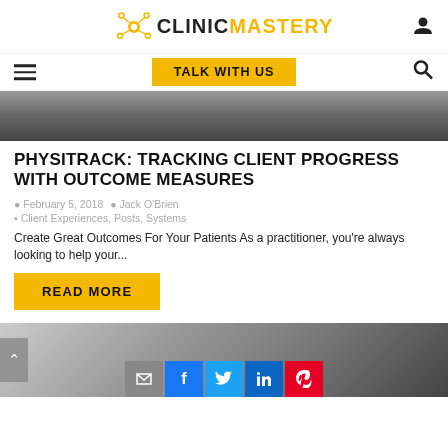CLINIC MASTERY
[Figure (screenshot): Clinic Mastery logo with network node icon and navigation bar with hamburger menu, TALK WITH US button, and search icon]
[Figure (photo): Hero image showing a person in athletic wear, cropped to show torso/back area, dark background]
PHYSITRACK: TRACKING CLIENT PROGRESS WITH OUTCOME MEASURES
February 5, 2018   Jack O'Brien
Client Experiences, Posts, Systems
Create Great Outcomes For Your Patients As a practitioner, you're always looking to help your...
READ MORE
[Figure (photo): Bottom image showing a person hunched over, appearing tired or working, near a window with natural light]